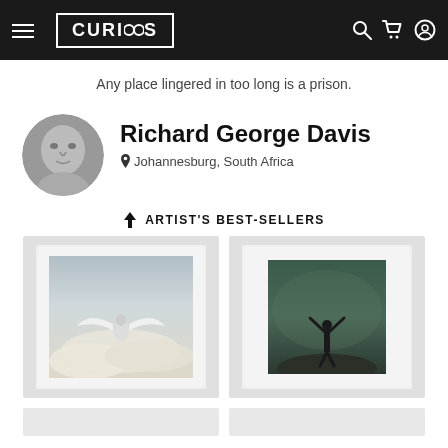CURIOOS — navigation header with menu, logo, search, cart, account icons
Any place lingered in too long is a prison.
[Figure (photo): Circular black-and-white portrait photo of Richard George Davis, showing a man's face in close-up]
Richard George Davis
Johannesburg, South Africa
ARTIST'S BEST-SELLERS
[Figure (photo): Art print showing a white winged figure or creature flying over clouds in a misty sky]
[Figure (photo): Art print showing a silhouetted figure with arms raised standing on a rocky peak under a dramatic stormy sky]